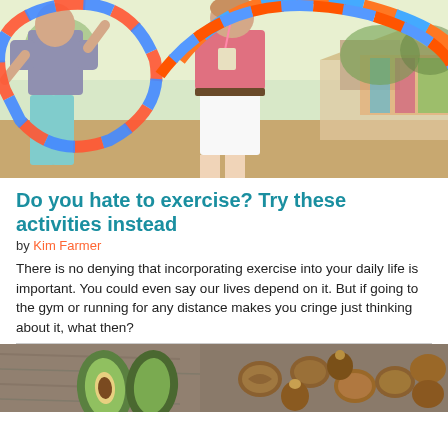[Figure (photo): Two people using hula hoops outdoors at what appears to be a festival or fair, colorful hoops visible]
Do you hate to exercise? Try these activities instead
by Kim Farmer
There is no denying that incorporating exercise into your daily life is important. You could even say our lives depend on it. But if going to the gym or running for any distance makes you cringe just thinking about it, what then?
[Figure (photo): Avocados and assorted nuts on a wooden surface]